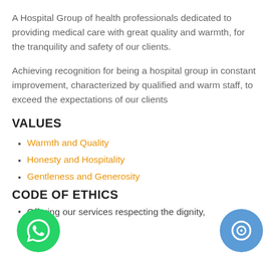A Hospital Group of health professionals dedicated to providing medical care with great quality and warmth, for the tranquility and safety of our clients.
Achieving recognition for being a hospital group in constant improvement, characterized by qualified and warm staff, to exceed the expectations of our clients
VALUES
Warmth and Quality
Honesty and Hospitality
Gentleness and Generosity
CODE OF ETHICS
Offering our services respecting the dignity,